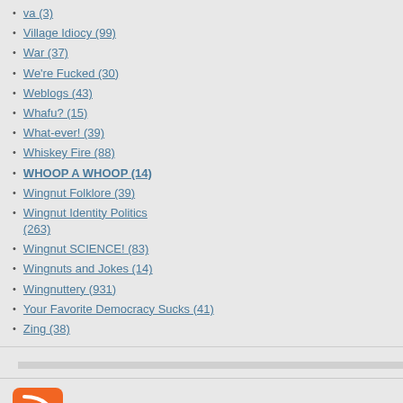va (3)
Village Idiocy (99)
War (37)
We're Fucked (30)
Weblogs (43)
Whafu? (15)
What-ever! (39)
Whiskey Fire (88)
WHOOP A WHOOP (14)
Wingnut Folklore (39)
Wingnut Identity Politics (263)
Wingnut SCIENCE! (83)
Wingnuts and Jokes (14)
Wingnuttery (931)
Your Favorite Democracy Sucks (41)
Zing (38)
[Figure (logo): RSS feed icon - orange square with white wifi-style signal bars]
Subscribe in a reader
follow on Twitter